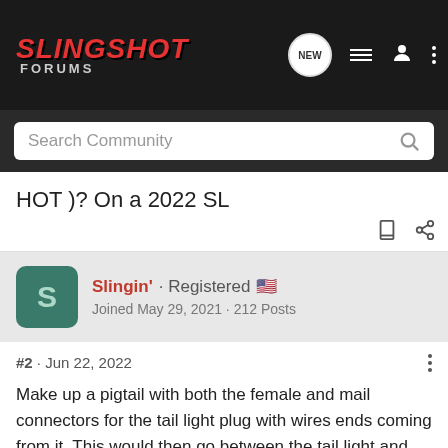SLINGSHOT FORUMS
Search Community
HOT )?? On a 2022 SL
Slingin' · Registered 🇺🇸
Joined May 29, 2021 · 212 Posts
#2 · Jun 22, 2022
Make up a pigtail with both the female and mail connectors for the tail light plug with wires ends coming from it. This would then go between the tail light and factory wiring harness and have wires to go to any accessory lighting you want to install